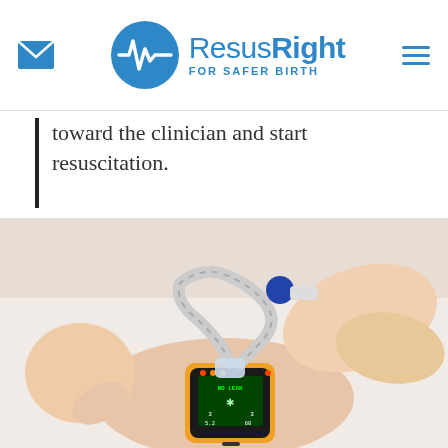ResusRight FOR SAFER BIRTH
toward the clinician and start resuscitation.
[Figure (photo): Hands holding a ResusRight neonatal resuscitation device connected to a breathing mask being applied to a newborn baby lying on a white surface. The device display reads 'NO LEAK' with metrics including 3, 3, 5.2, and 60.]